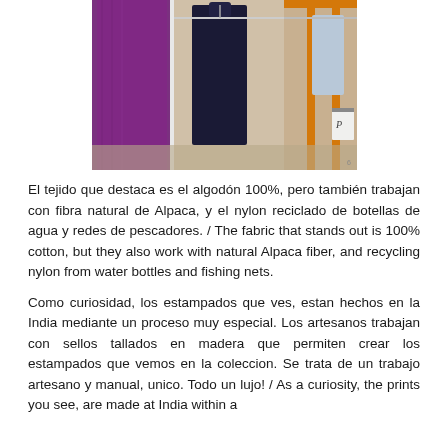[Figure (photo): Photo of a clothing rack/store display showing garments hanging — including purple/magenta patterned dress on left, dark navy hanging clothes in center, and light blue/grey tops on the right with an orange rack structure visible.]
El tejido que destaca es el algodón 100%, pero también trabajan con fibra natural de Alpaca, y el nylon reciclado de botellas de agua y redes de pescadores. / The fabric that stands out is 100% cotton, but they also work with natural Alpaca fiber, and recycling nylon from water bottles and fishing nets.
Como curiosidad, los estampados que ves, estan hechos en la India mediante un proceso muy especial. Los artesanos trabajan con sellos tallados en madera que permiten crear los estampados que vemos en la coleccion. Se trata de un trabajo artesano y manual, unico. Todo un lujo! / As a curiosity, the prints you see, are made at India within a